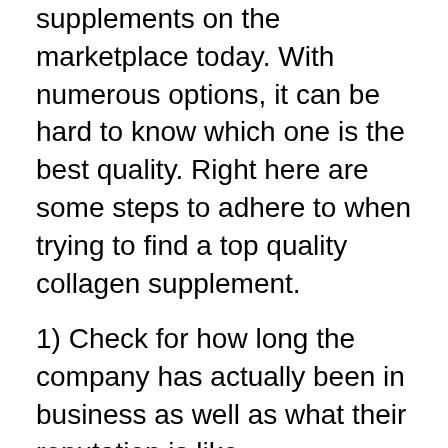supplements on the marketplace today. With numerous options, it can be hard to know which one is the best quality. Right here are some steps to adhere to when trying to find a top quality collagen supplement.
1) Check for how long the company has actually been in business as well as what their reputation is like.
2) Look at the active ingredients as well as see to it they have something that will help your demands (i.e., type 1, type 2, kind 3).
3) Examine if there are any type of fillers or various other components that might not be as healthy as what you want to put into your body and if so, find one without any fillers or